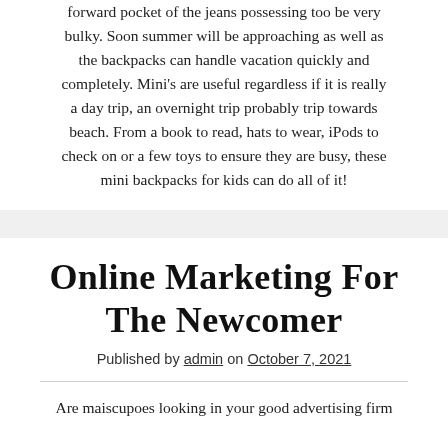forward pocket of the jeans possessing too be very bulky. Soon summer will be approaching as well as the backpacks can handle vacation quickly and completely. Mini's are useful regardless if it is really a day trip, an overnight trip probably trip towards beach. From a book to read, hats to wear, iPods to check on or a few toys to ensure they are busy, these mini backpacks for kids can do all of it!
Online Marketing For The Newcomer
Published by admin on October 7, 2021
Are maiscupoes looking in your good advertising firm